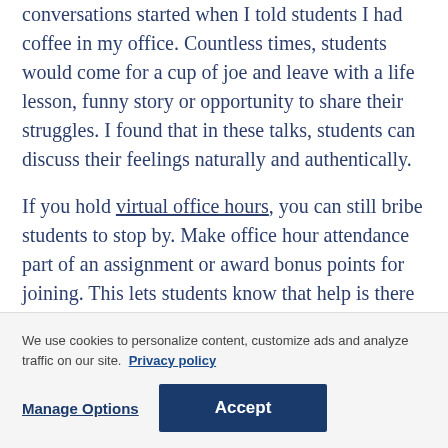conversations started when I told students I had coffee in my office. Countless times, students would come for a cup of joe and leave with a life lesson, funny story or opportunity to share their struggles. I found that in these talks, students can discuss their feelings naturally and authentically.
If you hold virtual office hours, you can still bribe students to stop by. Make office hour attendance part of an assignment or award bonus points for joining. This lets students know that help is there for
We use cookies to personalize content, customize ads and analyze traffic on our site. Privacy policy